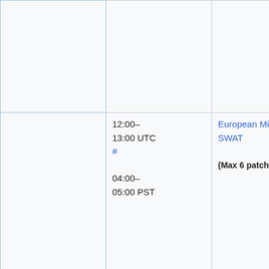| Time | Event | Deployers |
| --- | --- | --- |
|  |  | (thcipr
Niharika
or Željko |
| 12:00–13:00 UTC #
04:00–05:00 PST | European Mid-day SWAT
(Max 6 patches) | addshortcut
(hashan
(aude), N
(MaxSem
(twenty
Roan
(RoanKa
Sébastie
(Dereck
(thcipr
Niharika
or Željko |
| 13:00–14:00 UTC #
05:00– | Pre MediaWiki train sanity break |  |